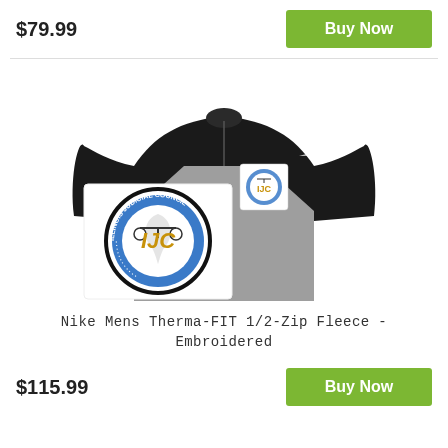$79.99
Buy Now
[Figure (photo): Nike Mens Therma-FIT 1/2-Zip Fleece jacket in black and grey with IJC (Illinois Judicial Council) logo embroidered on chest and a large IJC logo overlay on the lower left]
Nike Mens Therma-FIT 1/2-Zip Fleece - Embroidered
$115.99
Buy Now